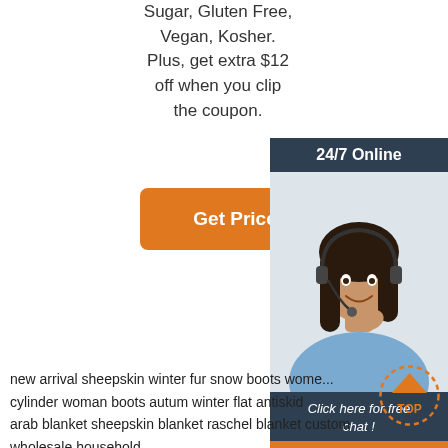Sugar, Gluten Free, Vegan, Kosher. Plus, get extra $12 off when you clip the coupon.
[Figure (other): Orange 'Get Price' button]
[Figure (other): 24/7 Online chat widget with photo of female customer service agent and 'Click here for free chat!' text and orange QUOTATION button]
new arrival sheepskin winter fur snow boots wome... cylinder woman boots autum winter flat antiskid arab blanket sheepskin blanket raschel blanket custom wholesale household sheepskin embroidery zig zag decorative throw pillow cover geometric design cushion cover living room 18x18 inches modern geometric green arrow throw pillow case sheepskin linen home decor 18x18 inch
[Figure (other): Orange dotted TOP scroll-to-top button]